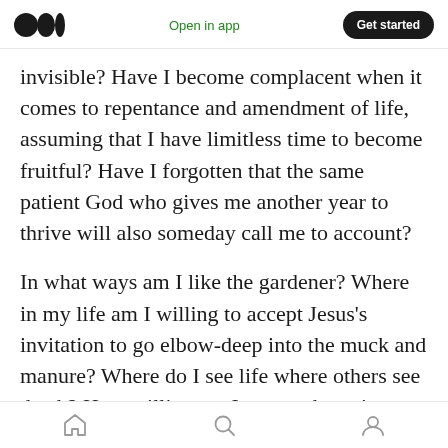Open in app | Get started
invisible? Have I become complacent when it comes to repentance and amendment of life, assuming that I have limitless time to become fruitful? Have I forgotten that the same patient God who gives me another year to thrive will also someday call me to account?
In what ways am I like the gardener? Where in my life am I willing to accept Jesus’s invitation to go elbow-deep into the muck and manure? Where do I see life where others see death? How willing am I to pour hope into a project I can’t control? Am I brave enough to sacrifice time, effort, love
Home | Search | Profile